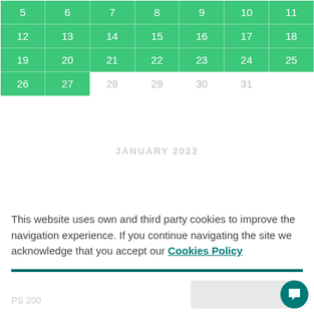| Sun | Mon | Tue | Wed | Thu | Fri | Sat |
| --- | --- | --- | --- | --- | --- | --- |
| 5 | 6 | 7 | 8 | 9 | 10 | 11 |
| 12 | 13 | 14 | 15 | 16 | 17 | 18 |
| 19 | 20 | 21 | 22 | 23 | 24 | 25 |
| 26 | 27 | 28 | 29 | 30 | 31 |  |
JANUARY 2022
This website uses own and third party cookies to improve the navigation experience. If you continue navigating the site we acknowledge that you accept our Cookies Policy
Close